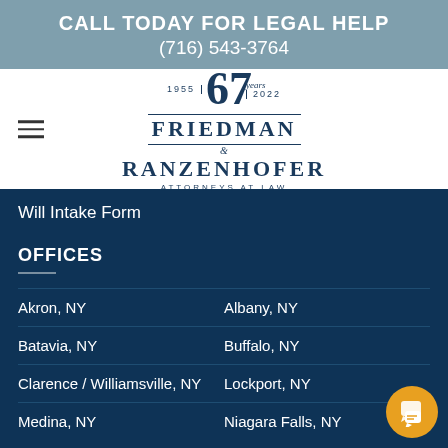CALL TODAY FOR LEGAL HELP
(716) 543-3764
[Figure (logo): Friedman & Ranzenhofer Attorneys at Law logo with '67 years' badge, 1955-2022]
Will Intake Form
OFFICES
Akron, NY
Albany, NY
Batavia, NY
Buffalo, NY
Clarence / Williamsville, NY
Lockport, NY
Medina, NY
Niagara Falls, NY